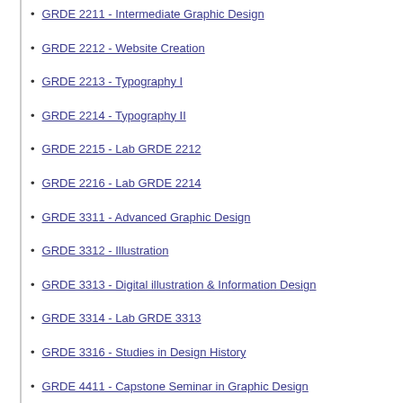GRDE 2211 - Intermediate Graphic Design
GRDE 2212 - Website Creation
GRDE 2213 - Typography I
GRDE 2214 - Typography II
GRDE 2215 - Lab GRDE 2212
GRDE 2216 - Lab GRDE 2214
GRDE 3311 - Advanced Graphic Design
GRDE 3312 - Illustration
GRDE 3313 - Digital illustration & Information Design
GRDE 3314 - Lab GRDE 3313
GRDE 3316 - Studies in Design History
GRDE 4411 - Capstone Seminar in Graphic Design